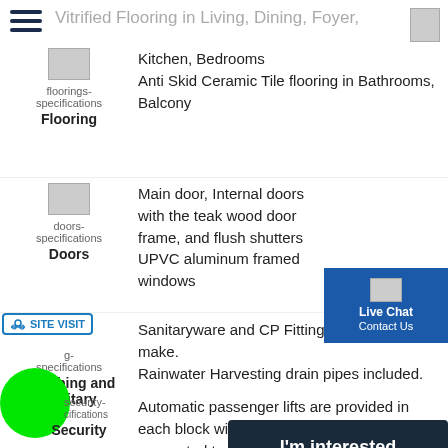Vitrified Flooring in Living, Dining, Foyer,
Flooring — Kitchen, Bedrooms | Anti Skid Ceramic Tile flooring in Bathrooms, Balcony
Doors — Main door, Internal doors with the teak wood door frame, and flush shutters | UPVC aluminum framed windows
Plumbing and Sanitary — Sanitaryware and CP Fittings of reputed make. | Rainwater Harvesting drain pipes included.
Security — Automatic passenger lifts are provided in each block with an emergency phone facility connected to with D. G. backup. | Round-the-clock security with intercom